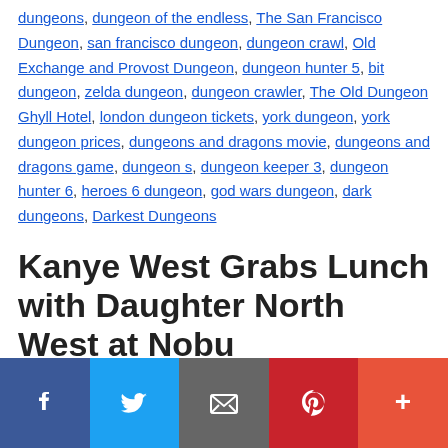dungeons, dungeon of the endless, The San Francisco Dungeon, san francisco dungeon, dungeon crawl, Old Exchange and Provost Dungeon, dungeon hunter 5, bit dungeon, zelda dungeon, dungeon crawler, The Old Dungeon Ghyll Hotel, london dungeon tickets, york dungeon, york dungeon prices, dungeons and dragons movie, dungeons and dragons game, dungeon s, dungeon keeper 3, dungeon hunter 6, heroes 6 dungeon, god wars dungeon, dark dungeons, Darkest Dungeons
Kanye West Grabs Lunch with Daughter North West at Nobu
May 26, 2022 by www.tmz.com